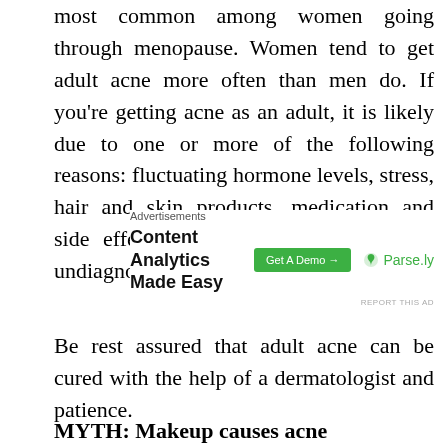most common among women going through menopause. Women tend to get adult acne more often than men do. If you're getting acne as an adult, it is likely due to one or more of the following reasons: fluctuating hormone levels, stress, hair and skin products, medication and side effects, family history or even an undiagnosed medical condition.
[Figure (other): Advertisement banner for Parse.ly Content Analytics Made Easy with a Get A Demo button]
Be rest assured that adult acne can be cured with the help of a dermatologist and patience.
MYTH: Makeup causes acne